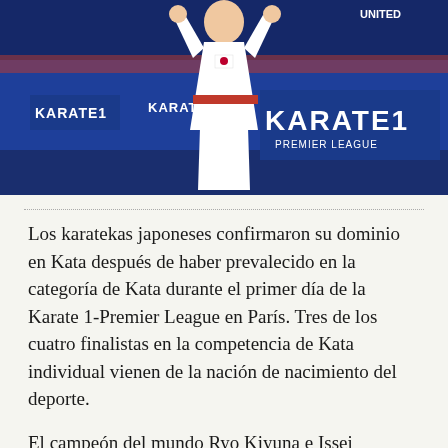[Figure (photo): A karate athlete dressed in white gi with red belt, arms raised in victory, at a Karate 1 Premier League competition. Karate 1 branding visible in background.]
Los karatekas japoneses confirmaron su dominio en Kata después de haber prevalecido en la categoría de Kata durante el primer día de la Karate 1-Premier League en París. Tres de los cuatro finalistas en la competencia de Kata individual vienen de la nación de nacimiento del deporte.
El campeón del mundo Ryo Kiyuna e Issei Shimbaba se enfrentarán en la final de la competencia masculina individual Kata. El titular de la defensa mundial demostró su dominio de la